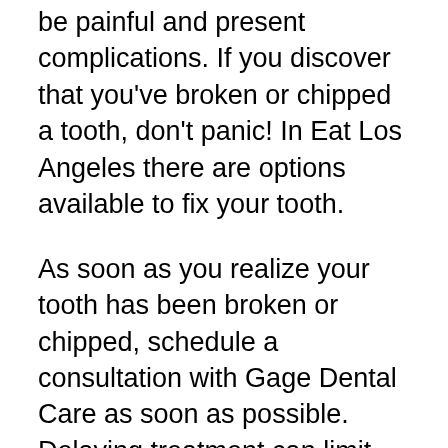be painful and present complications. If you discover that you've broken or chipped a tooth, don't panic! In Eat Los Angeles there are options available to fix your tooth.
As soon as you realize your tooth has been broken or chipped, schedule a consultation with Gage Dental Care as soon as possible. Delaying treatment can limit your options or allowing room for the damaged tooth to become infected. If this happens, you may end up having to get the tooth removed.
While waiting to see a dentist, take over the counter pain killers for pain and rinse